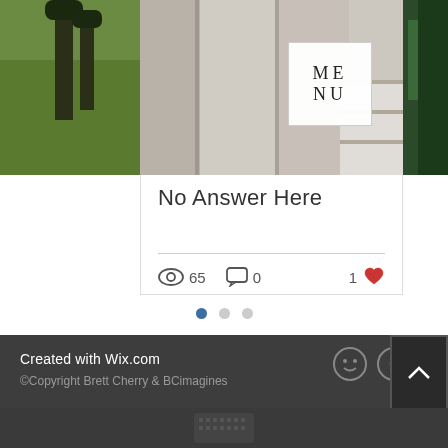[Figure (screenshot): Screenshot of a website (Wix.com) showing a blog card with title 'No Answer Here', view count 65, 0 comments, 1 like, a MENU overlay on a photo of a concrete corridor, and a footer with 'Created with Wix.com' and '©Copyright Brett Cherry & BCimagines'. Pagination dots and scroll-to-top button also visible.]
No Answer Here
65
0
1
Created with Wix.com
©Copyright Brett Cherry & BCimagines